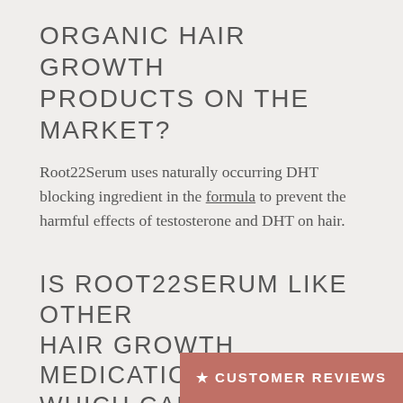ORGANIC HAIR GROWTH PRODUCTS ON THE MARKET?
Root22Serum uses naturally occurring DHT blocking ingredient in the formula to prevent the harmful effects of testosterone and DHT on hair.
IS ROOT22SERUM LIKE OTHER HAIR GROWTH MEDICATIONS WHICH CAUSE SIDE EFFECTS?
To date, none of our customers have reported side effects from using Root22Serum. Our product is 100% natural with 22 certified organic ingredients, all disclo... We
★ CUSTOMER REVIEWS